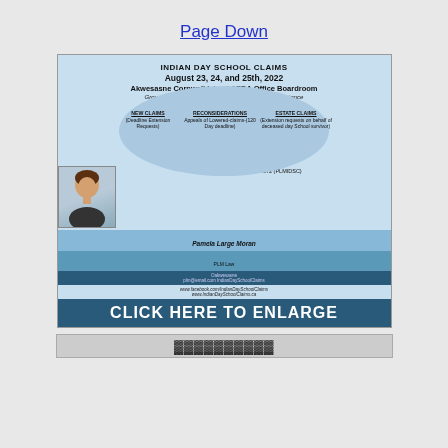Page Down
[Figure (infographic): Indian Day School Claims advertisement for sessions on August 23, 24, and 25th, 2022 at Akwesasne Cornwall Island AEDA Office Boardroom. Features information on New Claims, Reconsiderations, and Estate Claims. Includes photo of Pamela Large Moran, PLM Law contact info, toll free 1-855-756-4372 (PLMIDSC), and website links. Has a 'CLICK HERE TO ENLARGE' banner at the bottom.]
[Figure (photo): Partial bottom strip with large bold text, likely a continuation image.]